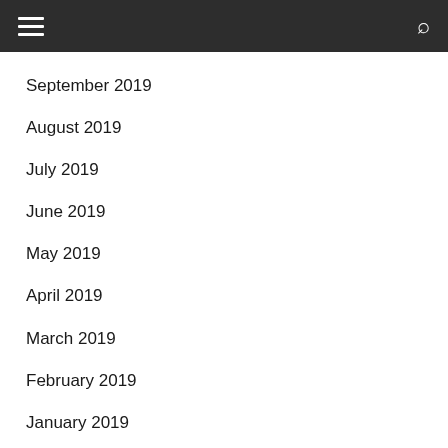Navigation menu with hamburger icon and search icon
September 2019
August 2019
July 2019
June 2019
May 2019
April 2019
March 2019
February 2019
January 2019
December 2018
October 2018
September 2018
August 2018